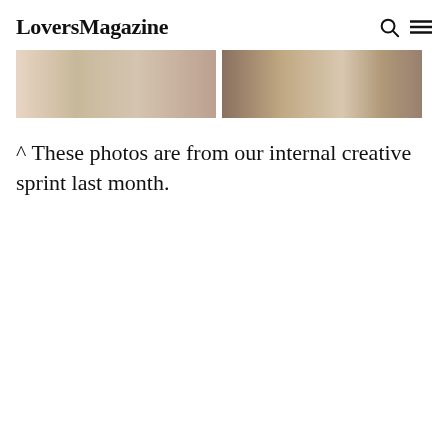LoversMagazine
[Figure (photo): Two cropped photos side by side: left photo shows a warm-toned scene with soft pink and beige tones, right photo shows a darker scene with brown and grey tones.]
^ These photos are from our internal creative sprint last month.